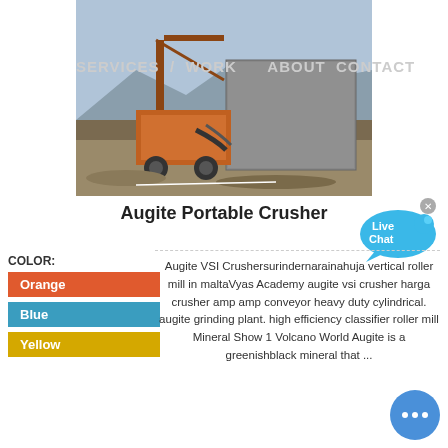[Figure (photo): Construction site with heavy machinery including a portable crusher, concrete block, and industrial equipment near water]
SERVICES  WORK  ABOUT  CONTACT
Augite Portable Crusher
[Figure (other): Live Chat bubble icon with fish/speech bubble shape in blue]
Orange
Blue
Yellow
Augite VSI Crushersurindernarainahuja vertical roller mill in maltaVyas Academy augite vsi crusher harga crusher amp amp conveyor heavy duty cylindrical. augite grinding plant. high efficiency classifier roller mill Mineral Show 1 Volcano World Augite is a greenishblack mineral that ...